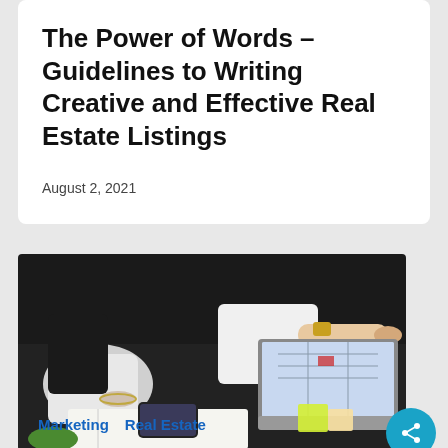The Power of Words – Guidelines to Writing Creative and Effective Real Estate Listings
August 2, 2021
[Figure (photo): Two people at a desk with a laptop showing a map/floor plan, one person pointing at the screen while the other holds a pen, with a notebook and phone on the desk]
Marketing   Real Estate